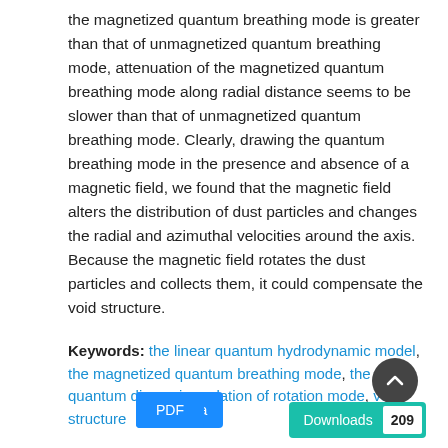the magnetized quantum breathing mode is greater than that of unmagnetized quantum breathing mode, attenuation of the magnetized quantum breathing mode along radial distance seems to be slower than that of unmagnetized quantum breathing mode. Clearly, drawing the quantum breathing mode in the presence and absence of a magnetic field, we found that the magnetic field alters the distribution of dust particles and changes the radial and azimuthal velocities around the axis. Because the magnetic field rotates the dust particles and collects them, it could compensate the void structure.
Keywords: the linear quantum hydrodynamic model, the magnetized quantum breathing mode, the quantum dispersion relation of rotation mode, void structure